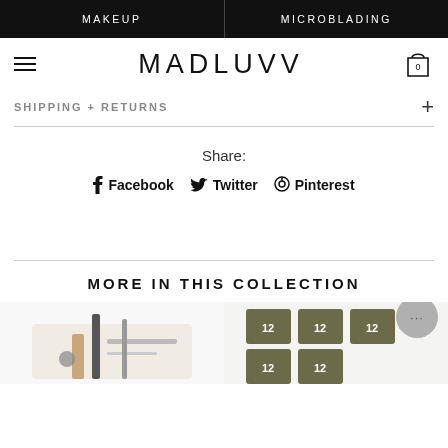MAKEUP | MICROBLADING
MADLUVV
SHIPPING + RETURNS
Share:
Facebook  Twitter  Pinterest
MORE IN THIS COLLECTION
[Figure (photo): Two product images partially visible at the bottom: beauty/makeup tools on the left, small square cosmetic product cards on the right.]